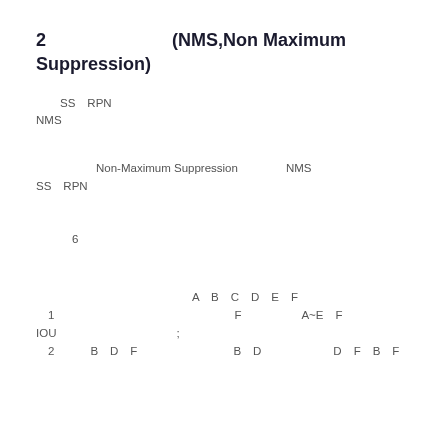2　　　　　　　(NMS,Non Maximum Suppression)
SS　RPN　　　　　　　　　　　　　　　　　　　　　　　　　　　　　　　　　　　　　　　　　　　　　　　　　　　　　NMS
Non-Maximum Suppression　　　　NMS　　　　　　　　　　　　　　　　　　　　　　　　　　SS　RPN　　　　　　　　　　　　　　　　　　　　　　　　　　　　　　　　　　　　　　　　　　　　　　　6
A　B　C　D　E　F　
　1　　　　　　　　　　　　　　　F　　　　　A~E　F　　　IOU　　　　　　　　　　;
　2　　　B　D　F　　　　　　　　B　D　　　　　　D　F　B　F